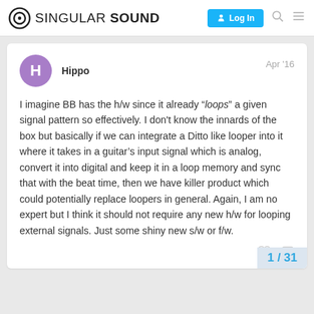SINGULAR SOUND — Log In
Hippo — Apr '16
I imagine BB has the h/w since it already "loops" a given signal pattern so effectively. I don't know the innards of the box but basically if we can integrate a Ditto like looper into it where it takes in a guitar's input signal which is analog, convert it into digital and keep it in a loop memory and sync that with the beat time, then we have killer product which could potentially replace loopers in general. Again, I am no expert but I think it should not require any new h/w for looping external signals. Just some shiny new s/w or f/w.
1 / 31